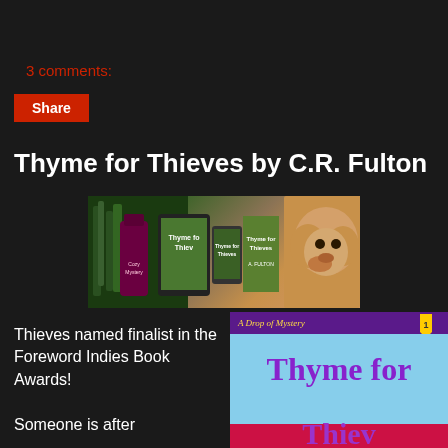3 comments:
Share
Thyme for Thieves by C.R. Fulton
[Figure (photo): Promotional banner image for 'Thyme for Thieves' showing book covers on devices (tablet, phone, paperback) with a fluffy golden dog in the background against green foliage]
Thieves named finalist in the Foreword Indies Book Awards!

Someone is after
[Figure (photo): Book cover for 'Thyme for Thieves' - A Drop of Mystery series book 1, showing large purple text on a sky blue background with a red/pink element at bottom]